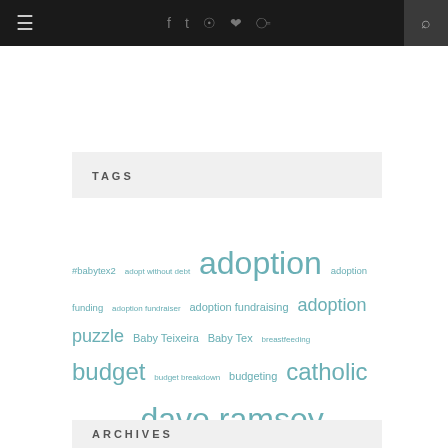Navigation bar with hamburger menu, social icons (f, twitter, instagram, pinterest, rss), and search
TAGS
#babytex2 adopt without debt adoption adoption funding adoption fundraiser adoption fundraising adoption puzzle Baby Teixeira Baby Tex breastfeeding budget budget breakdown budgeting catholic date date night dave ramsey debt-free faith family finances financial freedom financial peace FOCUS food fun fundraising home buying hope infertility intentional living Jesus joy Lent lentsanity little happies marriage money music prayer pro-life puzzle Puzzle Fundraiser total money makeover trust
ARCHIVES